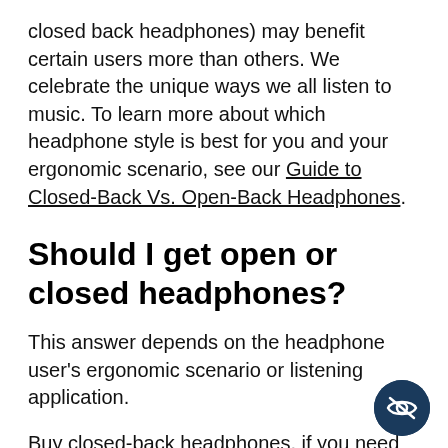closed back headphones) may benefit certain users more than others. We celebrate the unique ways we all listen to music. To learn more about which headphone style is best for you and your ergonomic scenario, see our Guide to Closed-Back Vs. Open-Back Headphones.
Should I get open or closed headphones?
This answer depends on the headphone user's ergonomic scenario or listening application.
Buy closed-back headphones, if you need to listen to high-resolution audio on-the-go in public settings, privately in the home, or even
[Figure (illustration): Dark blue circular badge/button with a crossed-out eye icon (privacy/hidden icon) in white]